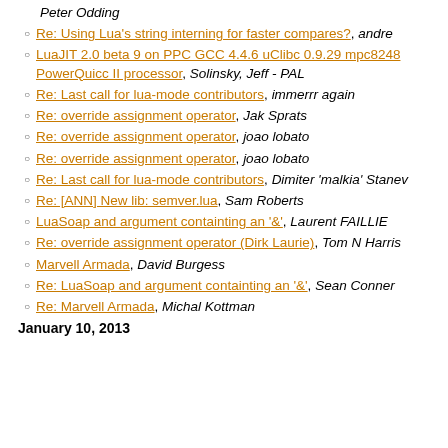Peter Odding
Re: Using Lua's string interning for faster compares?, andre
LuaJIT 2.0 beta 9 on PPC GCC 4.4.6 uClibc 0.9.29 mpc8248 PowerQuicc II processor, Solinsky, Jeff - PAL
Re: Last call for lua-mode contributors, immerrr again
Re: override assignment operator, Jak Sprats
Re: override assignment operator, joao lobato
Re: override assignment operator, joao lobato
Re: Last call for lua-mode contributors, Dimiter 'malkia' Stanev
Re: [ANN] New lib: semver.lua, Sam Roberts
LuaSoap and argument containting an '&', Laurent FAILLIE
Re: override assignment operator (Dirk Laurie), Tom N Harris
Marvell Armada, David Burgess
Re: LuaSoap and argument containting an '&', Sean Conner
Re: Marvell Armada, Michal Kottman
January 10, 2013